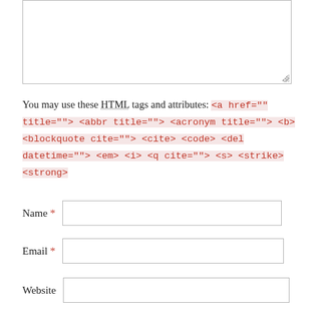[Figure (screenshot): A textarea input box with a resize handle in the bottom-right corner]
You may use these HTML tags and attributes: <a href="" title=""> <abbr title=""> <acronym title=""> <b> <blockquote cite=""> <cite> <code> <del datetime=""> <em> <i> <q cite=""> <s> <strike> <strong>
Name *
Email *
Website